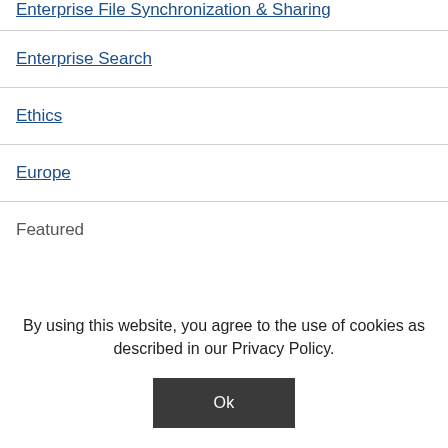Enterprise File Synchronization & Sharing
Enterprise Search
Ethics
Europe
Featured
By using this website, you agree to the use of cookies as described in our Privacy Policy.
Ok